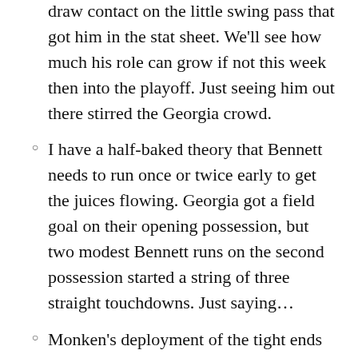draw contact on the little swing pass that got him in the stat sheet. We'll see how much his role can grow if not this week then into the playoff. Just seeing him out there stirred the Georgia crowd.
I have a half-baked theory that Bennett needs to run once or twice early to get the juices flowing. Georgia got a field goal on their opening possession, but two modest Bennett runs on the second possession started a string of three straight touchdowns. Just saying…
Monken's deployment of the tight ends in the passing game isn't just about getting them the ball. Washington and Bowers command enough attention now that they can clear out entire areas and leave receivers with at most single coverage. That's handy with Pickens working back into the rotation. On Burton's touchdown reception, a Bowers route drew attention from defenders.